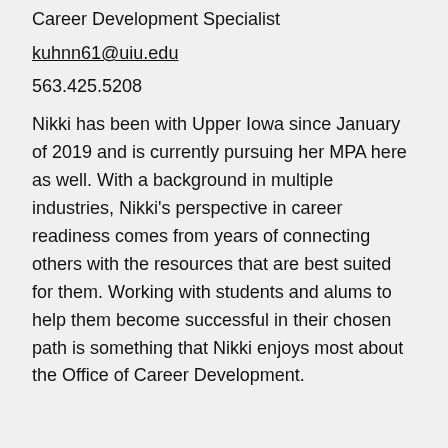Career Development Specialist
kuhnn61@uiu.edu
563.425.5208
Nikki has been with Upper Iowa since January of 2019 and is currently pursuing her MPA here as well. With a background in multiple industries, Nikki’s perspective in career readiness comes from years of connecting others with the resources that are best suited for them. Working with students and alums to help them become successful in their chosen path is something that Nikki enjoys most about the Office of Career Development.